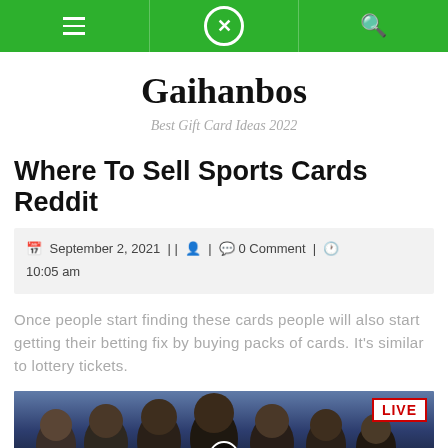Navigation bar with hamburger menu, Gaihanbos logo (X in circle), and search icon
Gaihanbos
Best Gift Card Ideas 2022
Where To Sell Sports Cards Reddit
September 2, 2021 || 0 Comment | 10:05 am
Once people start finding these cards people will also start getting their betting fix by buying packs of cards. It's similar to lottery tickets.
[Figure (photo): Group of male athletes/soccer players posed together with a LIVE badge in top right corner and an X icon overlay at bottom center]